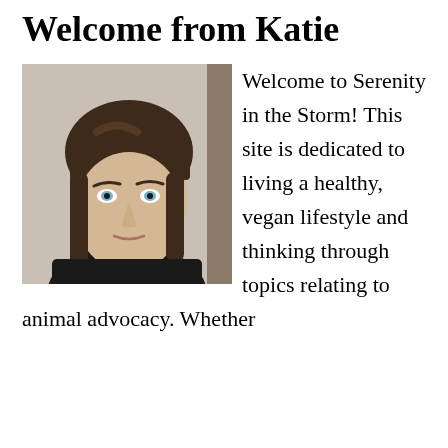Welcome from Katie
[Figure (photo): Portrait photo of a young woman with brown hair and bangs, looking at camera with a neutral expression, wearing a dark top.]
Welcome to Serenity in the Storm! This site is dedicated to living a healthy, vegan lifestyle and thinking through topics relating to animal advocacy. Whether